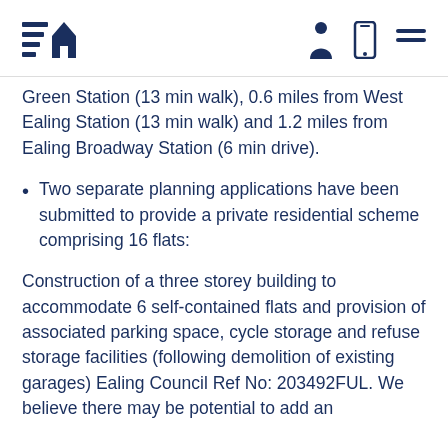[Logo and navigation icons]
Green Station (13 min walk), 0.6 miles from West Ealing Station (13 min walk) and 1.2 miles from Ealing Broadway Station (6 min drive).
Two separate planning applications have been submitted to provide a private residential scheme comprising 16 flats:
Construction of a three storey building to accommodate 6 self-contained flats and provision of associated parking space, cycle storage and refuse storage facilities (following demolition of existing garages) Ealing Council Ref No: 203492FUL. We believe there may be potential to add an